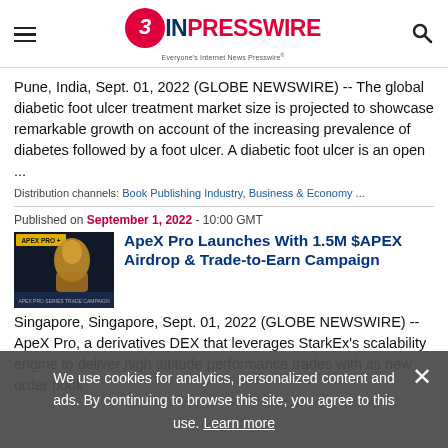EIN PRESSWIRE — Everyone's Internet News Presswire
Pune, India, Sept. 01, 2022 (GLOBE NEWSWIRE) -- The global diabetic foot ulcer treatment market size is projected to showcase remarkable growth on account of the increasing prevalence of diabetes followed by a foot ulcer. A diabetic foot ulcer is an open ...
Distribution channels: Book Publishing Industry, Business & Economy ...
Published on September 1, 2022 - 10:00 GMT
[Figure (photo): ApeX Pro Plus promotional image with dark background and golden mechanical figure]
ApeX Pro Launches With 1.5M $APEX Airdrop & Trade-to-Earn Campaign
Singapore, Singapore, Sept. 01, 2022 (GLOBE NEWSWIRE) -- ApeX Pro, a derivatives DEX that leverages StarkEx's scalability engine to deliver high altitude performance trades with its new order book
We use cookies for analytics, personalized content and ads. By continuing to browse this site, you agree to this use. Learn more